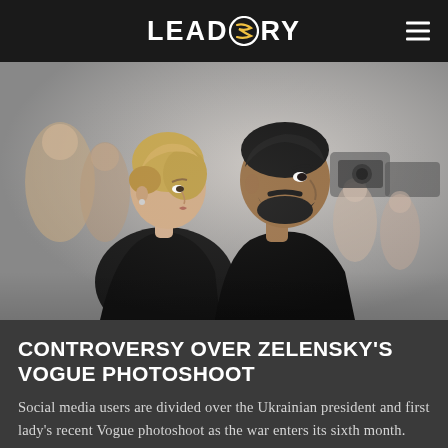LEADSTORY
[Figure (photo): A woman and a man (Ukrainian president Zelensky and first lady) standing side by side in profile view, surrounded by people and cameras in the background. Both wearing dark clothing.]
CONTROVERSY OVER ZELENSKY'S VOGUE PHOTOSHOOT
Social media users are divided over the Ukrainian president and first lady's recent Vogue photoshoot as the war enters its sixth month.